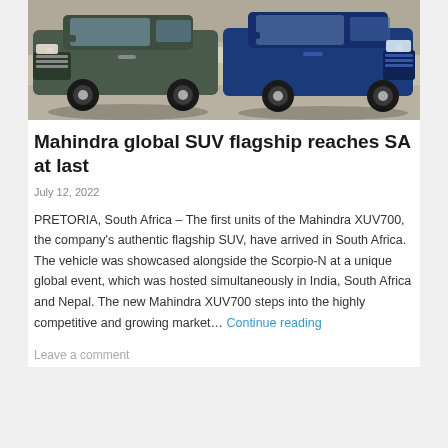[Figure (photo): Two Mahindra SUVs parked side by side outdoors — a dark grey/green Mahindra Scorpio-N on the left and a blue Mahindra XUV700 on the right, photographed from the front at an outdoor location.]
Mahindra global SUV flagship reaches SA at last
July 12, 2022
PRETORIA, South Africa – The first units of the Mahindra XUV700, the company's authentic flagship SUV, have arrived in South Africa. The vehicle was showcased alongside the Scorpio-N at a unique global event, which was hosted simultaneously in India, South Africa and Nepal. The new Mahindra XUV700 steps into the highly competitive and growing market… Continue reading
Leave a comment